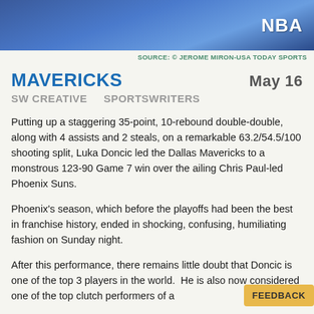[Figure (photo): NBA header banner with blue basketball court background]
NBA
SOURCE: © JEROME MIRON-USA TODAY SPORTS
MAVERICKS
May 16
SW CREATIVE    SPORTSWRITERS
Putting up a staggering 35-point, 10-rebound double-double, along with 4 assists and 2 steals, on a remarkable 63.2/54.5/100 shooting split, Luka Doncic led the Dallas Mavericks to a monstrous 123-90 Game 7 win over the ailing Chris Paul-led Phoenix Suns.
Phoenix's season, which before the playoffs had been the best in franchise history, ended in shocking, confusing, humiliating fashion on Sunday night.
After this performance, there remains little doubt that Doncic is one of the top 3 players in the world.  He is also now considered one of the top clutch performers of a
FEEDBACK